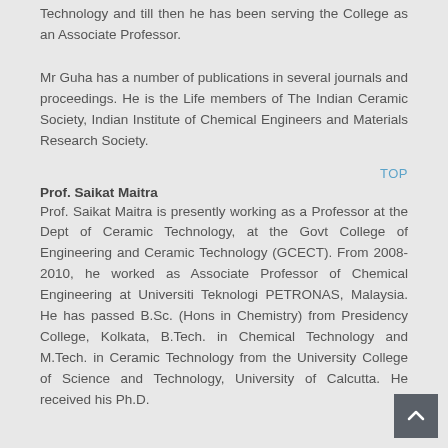Technology and till then he has been serving the College as an Associate Professor.
Mr Guha has a number of publications in several journals and proceedings. He is the Life members of The Indian Ceramic Society, Indian Institute of Chemical Engineers and Materials Research Society.
TOP
Prof. Saikat Maitra
Prof. Saikat Maitra is presently working as a Professor at the Dept of Ceramic Technology, at the Govt College of Engineering and Ceramic Technology (GCECT). From 2008-2010, he worked as Associate Professor of Chemical Engineering at Universiti Teknologi PETRONAS, Malaysia. He has passed B.Sc. (Hons in Chemistry) from Presidency College, Kolkata, B.Tech. in Chemical Technology and M.Tech. in Ceramic Technology from the University College of Science and Technology, University of Calcutta. He received his Ph.D.